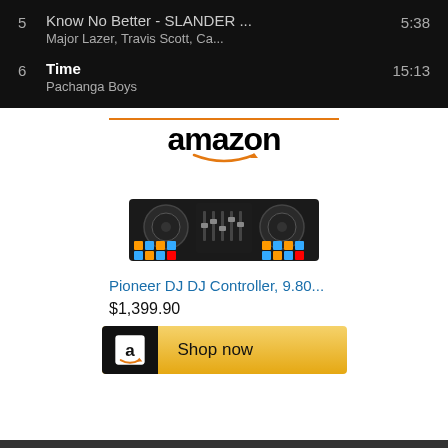5  Know No Better - SLANDER ...  5:38
Major Lazer, Travis Scott, Ca...
6  Time  15:13
Pachanga Boys
[Figure (logo): Amazon logo with orange bar above text and smile arrow below]
[Figure (photo): Pioneer DJ DJ Controller product image, black hardware with turntables and colorful pads]
Pioneer DJ DJ Controller, 9.80...
$1,399.90
[Figure (infographic): Shop now button with Amazon icon on dark background and golden button]